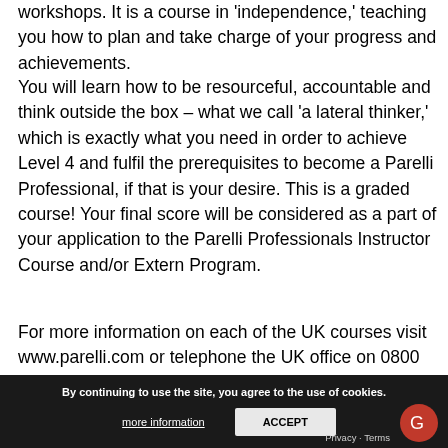workshops. It is a course in 'independence,' teaching you how to plan and take charge of your progress and achievements.
You will learn how to be resourceful, accountable and think outside the box – what we call 'a lateral thinker,' which is exactly what you need in order to achieve Level 4 and fulfil the prerequisites to become a Parelli Professional, if that is your desire. This is a graded course! Your final score will be considered as a part of your application to the Parelli Professionals Instructor Course and/or Extern Program.
For more information on each of the UK courses visit www.parelli.com or telephone the UK office on 0800 0284 813.